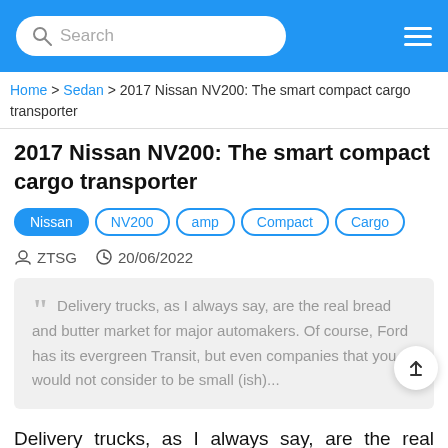Search
Home > Sedan > 2017 Nissan NV200: The smart compact cargo transporter
2017 Nissan NV200: The smart compact cargo transporter
Nissan | NV200 | amp | Compact | Cargo
ZTSG  20/06/2022
Delivery trucks, as I always say, are the real bread and butter market for major automakers. Of course, Ford has its evergreen Transit, but even companies that you would not consider to be small (ish)...
Delivery trucks, as I always say, are the real bread and butter market for major automakers. Of course, Ford has